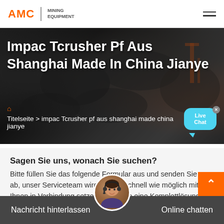AMC MINING EQUIPMENT
Impac Tcrusher Pf Aus Shanghai Made In China Jianye
Titelseite > impac Tcrusher pf aus shanghai made china jianye
[Figure (photo): Background photo of coal/mining material in dark grey tones with industrial equipment visible]
Sagen Sie uns, wonach Sie suchen?
Bitte füllen Sie das folgende Formular aus und senden Sie es ab, unser Serviceteam wird sich so schnell wie möglich mit Ihnen in Verbindung setzen und Ihnen eine Komplettlösung anbieten.
Nachricht hinterlassen   Online chatten